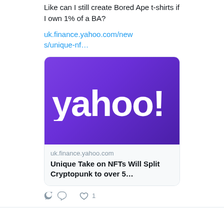Like can I still create Bored Ape t-shirts if I own 1% of a BA?
uk.finance.yahoo.com/news/unique-nf…
[Figure (logo): Yahoo! logo on purple gradient background]
uk.finance.yahoo.com
Unique Take on NFTs Will Split Cryptopunk to over 5…
1
View more on Twitter